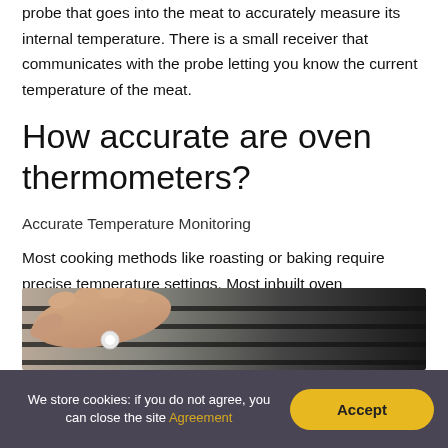probe that goes into the meat to accurately measure its internal temperature. There is a small receiver that communicates with the probe letting you know the current temperature of the meat.
How accurate are oven thermometers?
Accurate Temperature Monitoring
Most cooking methods like roasting or baking require precise temperature settings. Most inbuilt oven thermometers do not accurately monitor temperature and chances are you will end up getting disappointed.
[Figure (photo): A hand holding a thermometer probe near a cooking surface or oven rack, dark background]
We store cookies: if you do not agree, you can close the site Agreement